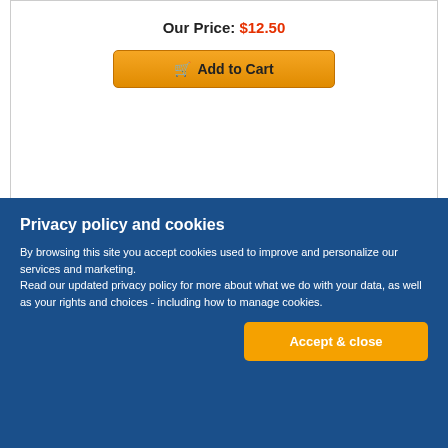Our Price: $12.50
[Figure (other): Add to Cart button with shopping cart icon]
[Figure (photo): Book cover: Vocabulary Cartoons SAT Word Power]
Privacy policy and cookies
By browsing this site you accept cookies used to improve and personalize our services and marketing. Read our updated privacy policy for more about what we do with your data, as well as your rights and choices - including how to manage cookies.
[Figure (other): Accept & close button]